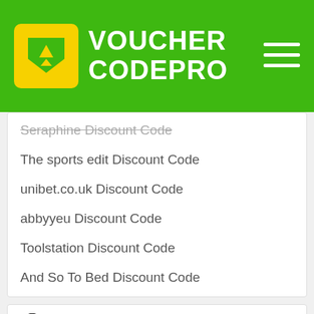VOUCHER CODEPRO
Seraphine Discount Code
The sports edit Discount Code
unibet.co.uk Discount Code
abbyyeu Discount Code
Toolstation Discount Code
And So To Bed Discount Code
Hot UK Stores
IceLolly discount
acer discount
Graze discount
Daniel Footwear discount
Tommy Hilfiger discount